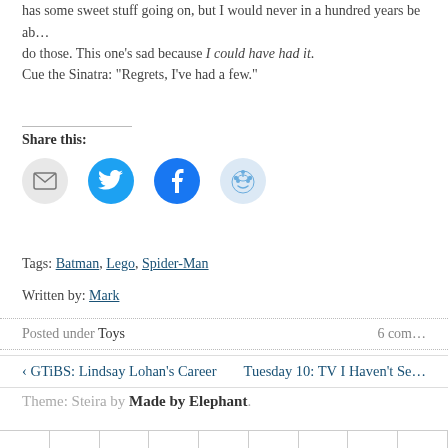has some sweet stuff going on, but I would never in a hundred years be able to do those. This one's sad because I could have had it.
Cue the Sinatra: “Regrets, I’ve had a few.”
Share this:
[Figure (infographic): Four social sharing icon buttons: email (gray circle), Twitter (blue circle with bird), Facebook (blue circle with f), Reddit (light blue circle with alien mascot)]
Tags: Batman, Lego, Spider-Man
Written by: Mark
Posted under Toys   6 comments
‹ GTiBS: Lindsay Lohan’s Career   Tuesday 10: TV I Haven’t Seen
Theme: Steira by Made by Elephant.